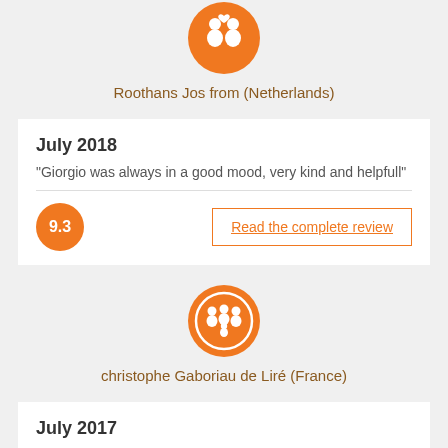[Figure (illustration): Orange circle with white couple icon (two people with heart above)]
Roothans Jos from (Netherlands)
July 2018
“Giorgio was always in a good mood, very kind and helpfull”
9.3
Read the complete review
[Figure (illustration): Orange circle with white family/group icon (multiple people figures)]
christophe Gaboriau de Liré (France)
July 2017
“belles vacances”